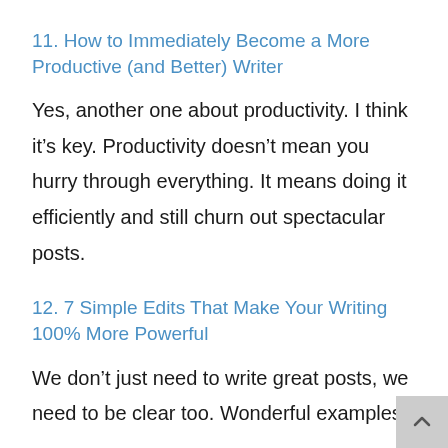11. How to Immediately Become a More Productive (and Better) Writer
Yes, another one about productivity. I think it’s key. Productivity doesn’t mean you hurry through everything. It means doing it efficiently and still churn out spectacular posts.
12. 7 Simple Edits That Make Your Writing 100% More Powerful
We don’t just need to write great posts, we need to be clear too. Wonderful examples